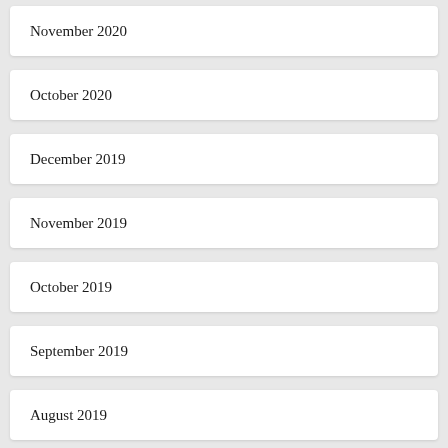November 2020
October 2020
December 2019
November 2019
October 2019
September 2019
August 2019